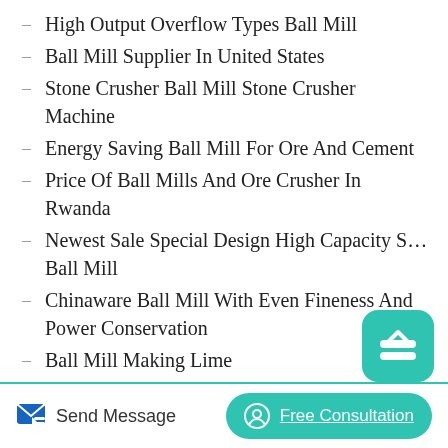High Output Overflow Types Ball Mill
Ball Mill Supplier In United States
Stone Crusher Ball Mill Stone Crusher Machine
Energy Saving Ball Mill For Ore And Cement
Price Of Ball Mills And Ore Crusher In Rwanda
Newest Sale Special Design High Capacity S… Ball Mill
Chinaware Ball Mill With Even Fineness And Power Conservation
Ball Mill Making Lime
Ball Mill For Ceramics Industry Manufacturers …